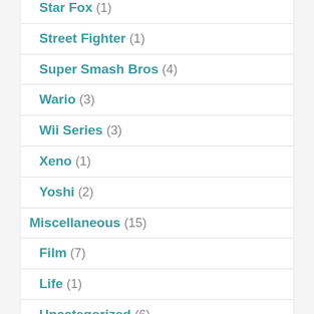Star Fox (1)
Street Fighter (1)
Super Smash Bros (4)
Wario (3)
Wii Series (3)
Xeno (1)
Yoshi (2)
Miscellaneous (15)
Film (7)
Life (1)
Uncategorized (6)